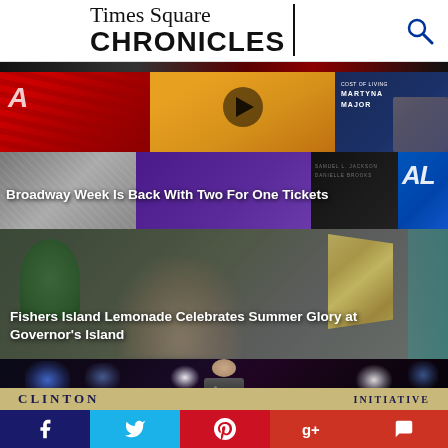[Figure (logo): Times Square Chronicles logo with serif/sans-serif text and vertical divider line, search icon top right]
[Figure (photo): Three thumbnail images in a row: red curtain/drapes, orange background with silhouette, dark blue playbill with text COST OF LIVING / MARTYNA MAJOR and a man]
[Figure (photo): Row of story images: black and white grainy image, purple background, dark background with faint text SAMUEL L. JACKSON / DANIELLE BROOKS, partial blue logo]
Broadway Week Is Back With Two For One Tickets
[Figure (photo): Outdoor event photo with blurred people, yellow/gold flag, blurred female face in foreground]
Fishers Island Lemonade Celebrates Summer Glory at Governor’s Island
[Figure (photo): Dark stage photo with blue and white stage lights, man speaking at microphone]
CLINTON  INITIATIVE
[Figure (infographic): Social media share bar with Facebook, Twitter, Pinterest, Google+, and comment icons]